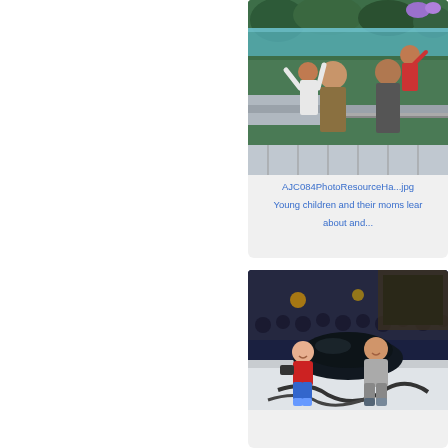[Figure (photo): Young children and their moms at what appears to be a botanical garden or exhibit, looking at plants and flowers over a railing]
AJC084PhotoResourceHa...jpg
Young children and their moms learn about and...
[Figure (photo): A man and woman posing with what appears to be a large dark sculpture or exhibit piece in a crowded venue at night]